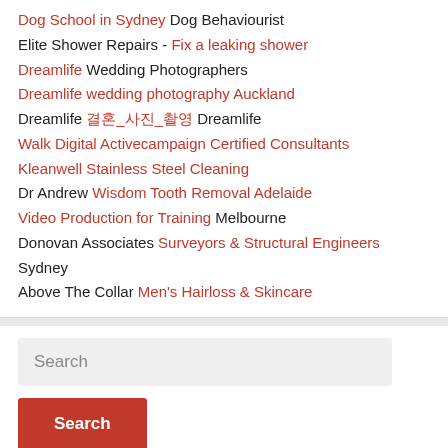Dog School in Sydney Dog Behaviourist
Elite Shower Repairs - Fix a leaking shower
Dreamlife Wedding Photographers
Dreamlife wedding photography Auckland
Dreamlife 결혼_사진_촬영 Dreamlife
Walk Digital Activecampaign Certified Consultants
Kleanwell Stainless Steel Cleaning
Dr Andrew Wisdom Tooth Removal Adelaide
Video Production for Training Melbourne
Donovan Associates Surveyors & Structural Engineers Sydney
Above The Collar Men's Hairloss & Skincare
Search
Search button
Primary Menu